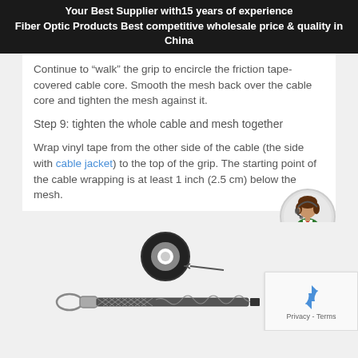Your Best Supplier with15 years of experience
Fiber Optic Products Best competitive wholesale price & quality in China
Continue to “walk” the grip to encircle the friction tape-covered cable core. Smooth the mesh back over the cable core and tighten the mesh against it.
Step 9: tighten the whole cable and mesh together
Wrap vinyl tape from the other side of the cable (the side with cable jacket) to the top of the grip. The starting point of the cable wrapping is at least 1 inch (2.5 cm) below the mesh.
[Figure (photo): Photo of a cable grip assembly with a spool of vinyl tape and an arrow pointing to the cable, showing a mesh grip over a braided cable with a loop end.]